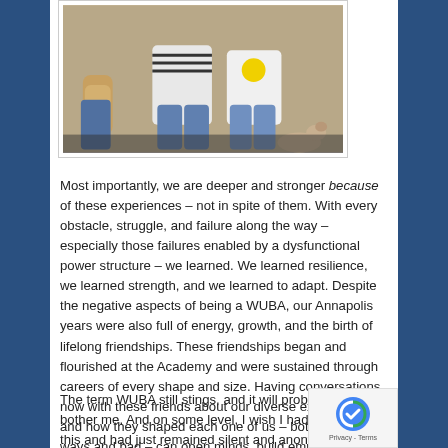[Figure (photo): Old photograph showing people (legs and torsos visible) sitting together, possibly on a couch or bench, with a small dog visible at the lower right.]
Most importantly, we are deeper and stronger because of these experiences – not in spite of them. With every obstacle, struggle, and failure along the way – especially those failures enabled by a dysfunctional power structure – we learned. We learned resilience, we learned strength, and we learned to adapt. Despite the negative aspects of being a WUBA, our Annapolis years were also full of energy, growth, and the birth of lifelong friendships. These friendships began and flourished at the Academy and were sustained through careers of every shape and size. Having conversations now with these friends about our diverse experiences and how they shaped each one of us – both in good ways and bad – can open minds, build empathy, and broaden perspectives. And this is how we develop real leaders and bring about positive change.
The term WUBA still stings, and it will probably always bother me. And on some level, I wish I hadn't written this and had just remained silent and anonymous. But I cann do that. By talking about being a WUBA and calling by